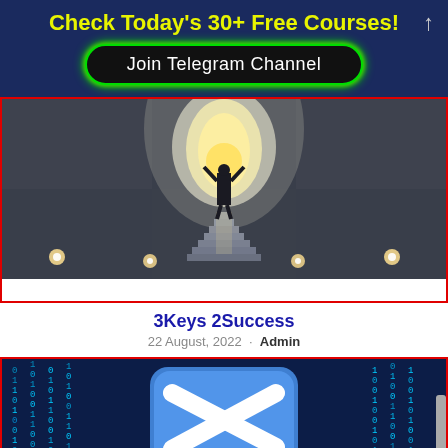Check Today's 30+ Free Courses!
Join Telegram Channel
[Figure (photo): Silhouette of a person with arms raised at the top of stairs with bright light behind them, inside a concrete corridor with floor lights on the sides]
3Keys 2Success
22 August, 2022 · Admin
[Figure (photo): Binary code matrix background in blue with a large blue rounded square icon containing a white arrow/play button symbol in the center]